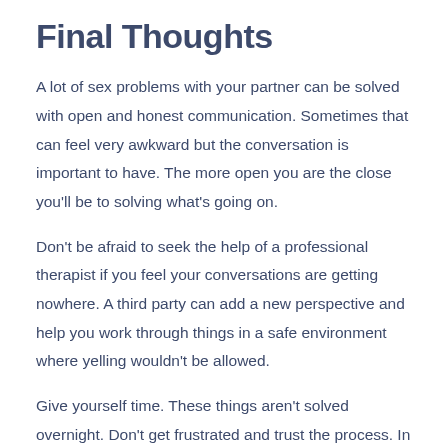Final Thoughts
A lot of sex problems with your partner can be solved with open and honest communication. Sometimes that can feel very awkward but the conversation is important to have. The more open you are the close you'll be to solving what's going on.
Don't be afraid to seek the help of a professional therapist if you feel your conversations are getting nowhere. A third party can add a new perspective and help you work through things in a safe environment where yelling wouldn't be allowed.
Give yourself time. These things aren't solved overnight. Don't get frustrated and trust the process. In the end if